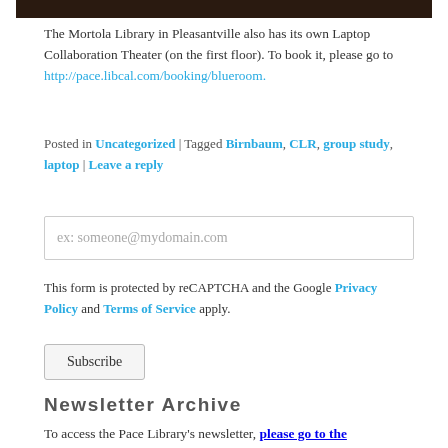[Figure (photo): Dark photo bar at the top of the page (partial image showing a room or event)]
The Mortola Library in Pleasantville also has its own Laptop Collaboration Theater (on the first floor). To book it, please go to http://pace.libcal.com/booking/blueroom.
Posted in Uncategorized | Tagged Birnbaum, CLR, group study, laptop | Leave a reply
ex: someone@mydomain.com
This form is protected by reCAPTCHA and the Google Privacy Policy and Terms of Service apply.
Subscribe
Newsletter Archive
To access the Pace Library's newsletter, please go to the